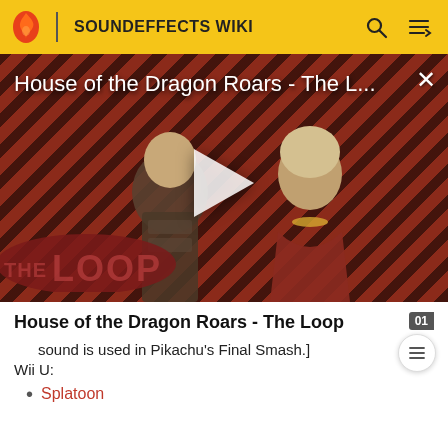SOUNDEFFECTS WIKI
[Figure (screenshot): Video thumbnail for 'House of the Dragon Roars - The L...' showing two characters from the show on a red diagonal-stripe background with a play button and The Loop watermark overlay.]
House of the Dragon Roars - The Loop
sound is used in Pikachu's Final Smash.]
Wii U:
Splatoon